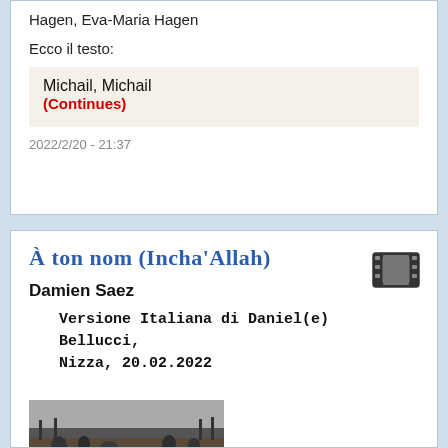Hagen, Eva-Maria Hagen
Ecco il testo:
Michail, Michail
(Continues)
2022/2/20 - 21:37
À ton nom (Incha'Allah)
Damien Saez
Versione Italiana di Daniel(e) Bellucci, Nizza, 20.02.2022
[Figure (photo): Black and white photograph showing a war trench scene with soldiers and rough terrain]